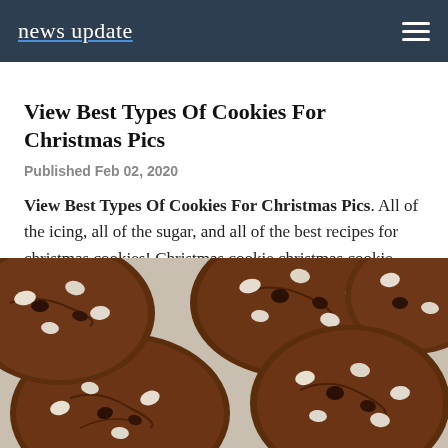news update
View Best Types Of Cookies For Christmas Pics
Published Feb 02, 2020
View Best Types Of Cookies For Christmas Pics. All of the icing, all of the sugar, and all of the best recipes for christmas cookies! Christmas cookie christmas cookie dessert.
[Figure (photo): Close-up photo of chocolate cookies with white and dark chocolate chips on a baking sheet]